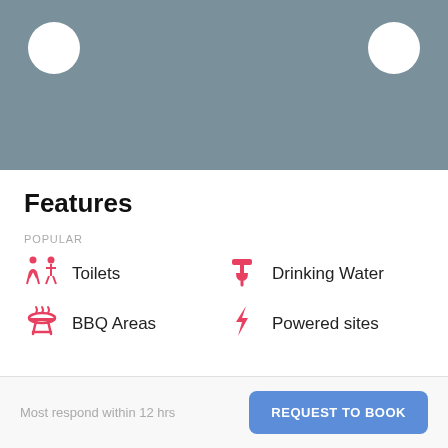[Figure (photo): Gray hero image placeholder with two white circles in upper-left and upper-right corners]
Features
POPULAR
Toilets
Drinking Water
BBQ Areas
Powered sites
Most respond within 12 hrs
REQUEST TO BOOK